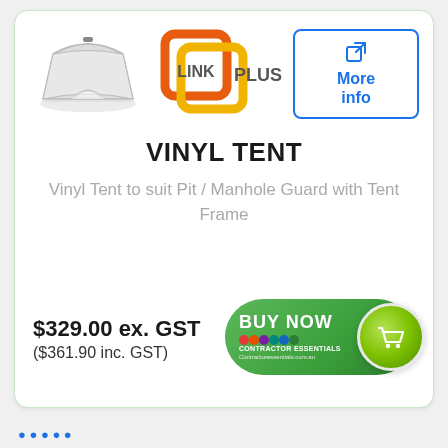[Figure (photo): White vinyl tent product photo, tent-shaped cover for pit/manhole]
[Figure (logo): Link Plus logo - orange and yellow interlocking squares with LINK PLUS text]
[Figure (other): More info button with external link icon, blue border, blue text]
VINYL TENT
Vinyl Tent to suit Pit / Manhole Guard with Tent Frame
$329.00 ex. GST ($361.90 inc. GST)
[Figure (other): BUY NOW button - green rounded rectangle with shopping cart icon, Contractor Essentials branding]